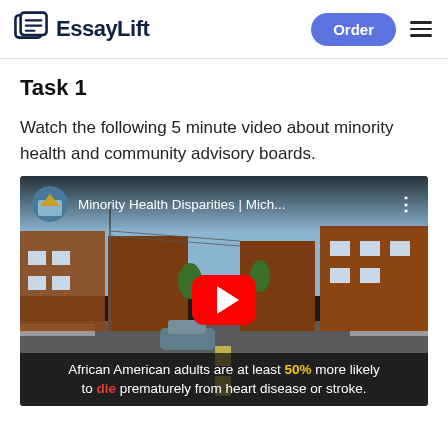EssayLift — Order
Task 1
Watch the following 5 minute video about minority health and community advisory boards.
[Figure (screenshot): YouTube video thumbnail showing a residential street scene with brick houses. Title reads 'Minority Health Disparities | Mich...' with a YouTube play button. Caption text: 'African American adults are at least 50% more likely to die prematurely from heart disease or stroke.']